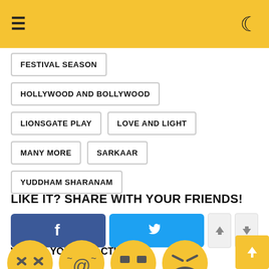Navigation header with hamburger menu and moon icon
FESTIVAL SEASON
HOLLYWOOD AND BOLLYWOOD
LIONSGATE PLAY
LOVE AND LIGHT
MANY MORE
SARKAAR
YUDDHAM SHARANAM
LIKE IT? SHARE WITH YOUR FRIENDS!
Facebook share button, Twitter share button, up vote button, down vote button
WHAT'S YOUR REACTION?
[Figure (illustration): Row of yellow emoji face icons partially visible at bottom of page]